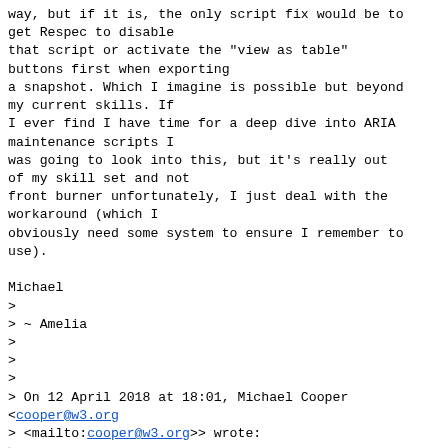way, but if it is, the only script fix would be to get Respec to disable
that script or activate the "view as table"
buttons first when exporting
a snapshot. Which I imagine is possible but beyond my current skills. If
I ever find I have time for a deep dive into ARIA maintenance scripts I
was going to look into this, but it's really out of my skill set and not
front burner unfortunately, I just deal with the workaround (which I
obviously need some system to ensure I remember to use).

Michael
>
> ~ Amelia
>
>
>
> On 12 April 2018 at 18:01, Michael Cooper <cooper@w3.org>
> <mailto:cooper@w3.org>> wrote:
>
>      If this is the problem I'm aware of, the fix is to activate the
>      "View as a single table" button for each
table before saving a